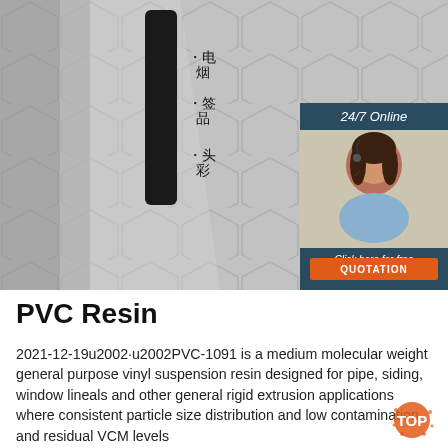[Figure (photo): Product photo showing gray hexagonal patterned surface (likely PVC panel/siding) with a black rectangular element and Chinese text labels, plus a customer service chat widget overlay with '24/7 Online' banner, photo of a customer service representative with headset, 'Click here for free chat!' text, and an orange QUOTATION button.]
PVC Resin
2021-12-19u2002·u2002PVC-1091 is a medium molecular weight general purpose vinyl suspension resin designed for pipe, siding, window lineals and other general rigid extrusion applications where consistent particle size distribution and low contamination and residual VCM levels